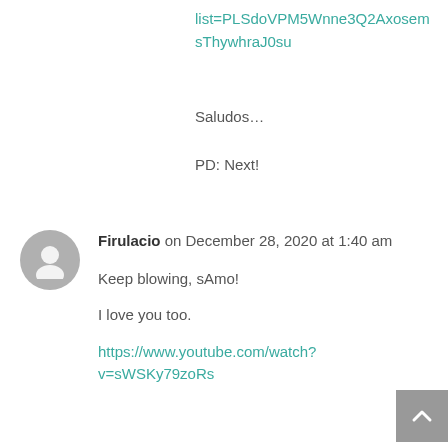list=PLSdoVPM5Wnne3Q2AxosemsThywhraJ0su
Saludos…
PD: Next!
Firulacio on December 28, 2020 at 1:40 am
Keep blowing, sAmo!
I love you too.
https://www.youtube.com/watch?v=sWSKy79zoRs